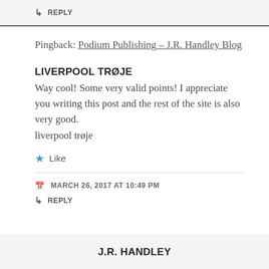↳ REPLY
Pingback: Podium Publishing – J.R. Handley Blog
LIVERPOOL TRØJE
Way cool! Some very valid points! I appreciate you writing this post and the rest of the site is also very good.
liverpool trøje
★ Like
MARCH 26, 2017 AT 10:49 PM
↳ REPLY
J.R. HANDLEY